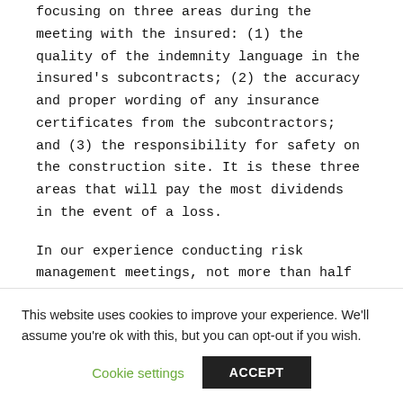focusing on three areas during the meeting with the insured: (1) the quality of the indemnity language in the insured's subcontracts; (2) the accuracy and proper wording of any insurance certificates from the subcontractors; and (3) the responsibility for safety on the construction site. It is these three areas that will pay the most dividends in the event of a loss.
In our experience conducting risk management meetings, not more than half of the contractor insureds we meet have both a valid indemnification provision in their favor, and a properly drafted insurance certificate from their subcontractors. Following a well run risk management meeting,
This website uses cookies to improve your experience. We'll assume you're ok with this, but you can opt-out if you wish.
Cookie settings | ACCEPT